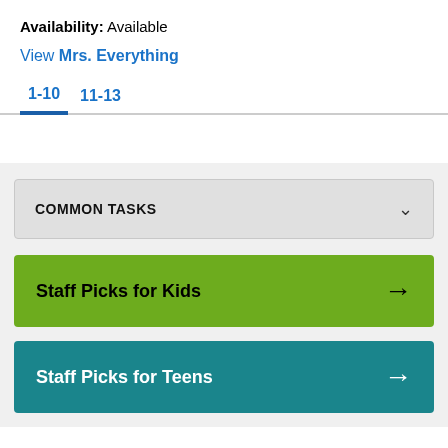Availability: Available
View Mrs. Everything
1-10  11-13
COMMON TASKS
Staff Picks for Kids
Staff Picks for Teens